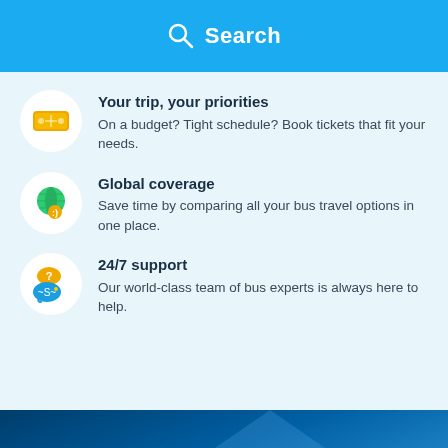Search
Your trip, your priorities
On a budget? Tight schedule? Book tickets that fit your needs.
Global coverage
Save time by comparing all your bus travel options in one place.
24/7 support
Our world-class team of bus experts is always here to help.